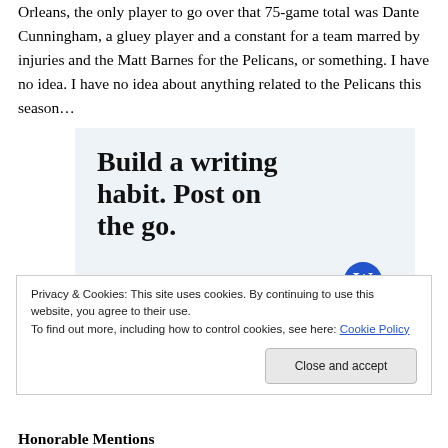Orleans, the only player to go over that 75-game total was Dante Cunningham, a gluey player and a constant for a team marred by injuries and the Matt Barnes for the Pelicans, or something. I have no idea. I have no idea about anything related to the Pelicans this season…
[Figure (other): Advertisement with light blue background showing text 'Build a writing habit. Post on the go.' and a 'GET THE APP' call to action with WordPress logo]
Privacy & Cookies: This site uses cookies. By continuing to use this website, you agree to their use.
To find out more, including how to control cookies, see here: Cookie Policy
Honorable Mentions